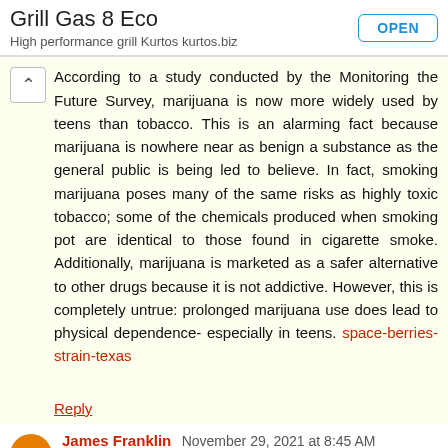Grill Gas 8 Eco
High performance grill Kurtos kurtos.biz
[OPEN button]
According to a study conducted by the Monitoring the Future Survey, marijuana is now more widely used by teens than tobacco. This is an alarming fact because marijuana is nowhere near as benign a substance as the general public is being led to believe. In fact, smoking marijuana poses many of the same risks as highly toxic tobacco; some of the chemicals produced when smoking pot are identical to those found in cigarette smoke. Additionally, marijuana is marketed as a safer alternative to other drugs because it is not addictive. However, this is completely untrue: prolonged marijuana use does lead to physical dependence- especially in teens. space-berries-strain-texas
Reply
James Franklin November 29, 2021 at 8:45 AM
As a chain smoker, I always like to smoke liquid herbal incense. Because smoking liquid herbal incense makes me